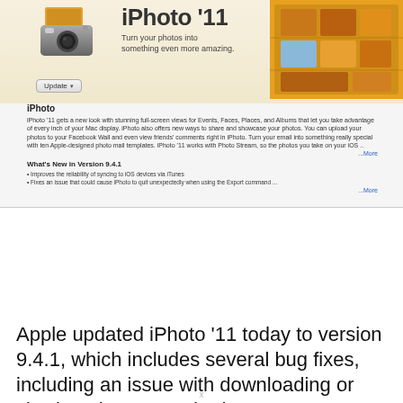[Figure (screenshot): App Store listing screenshot for iPhoto '11 showing app banner with camera icon, Update button, tagline 'Turn your photos into something even more amazing.', app description, What's New in Version 9.4.1 section, and a photo strip showing 5 thumbnail images.]
Apple updated iPhoto '11 today to version 9.4.1, which includes several bug fixes, including an issue with downloading or viewing photos synched